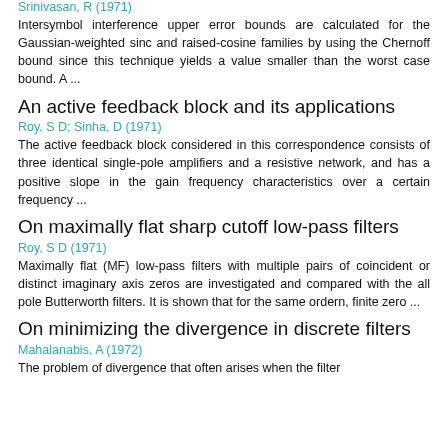Srinivasan, R (1971)
Intersymbol interference upper error bounds are calculated for the Gaussian-weighted sinc and raised-cosine families by using the Chernoff bound since this technique yields a value smaller than the worst case bound. A ...
An active feedback block and its applications
Roy, S D; Sinha, D (1971)
The active feedback block considered in this correspondence consists of three identical single-pole amplifiers and a resistive network, and has a positive slope in the gain frequency characteristics over a certain frequency ...
On maximally flat sharp cutoff low-pass filters
Roy, S D (1971)
Maximally flat (MF) low-pass filters with multiple pairs of coincident or distinct imaginary axis zeros are investigated and compared with the all pole Butterworth filters. It is shown that for the same ordern, finite zero ...
On minimizing the divergence in discrete filters
Mahalanabis, A (1972)
The problem of divergence that often arises when the filter